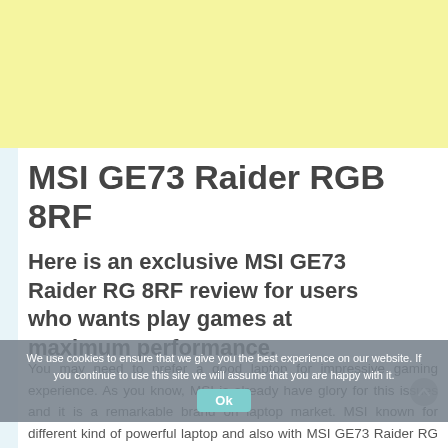[Figure (other): Light yellow advertisement banner at top of page]
MSI GE73 Raider RGB 8RF
Here is an exclusive MSI GE73 Raider RG 8RF review for users who wants play games at maximum performance.
We use cookies to ensure that we give you the best experience on our website. If you continue to use this site we will assume that you are happy with it.
You may need to prefer a good laptop for impressive gaming experience. As you know, MSI is already have glory for this issues and it is a remarkable brand on laptop market. MSI known for different kind of powerful laptop and also with MSI GE73 Raider RG 8RF i...